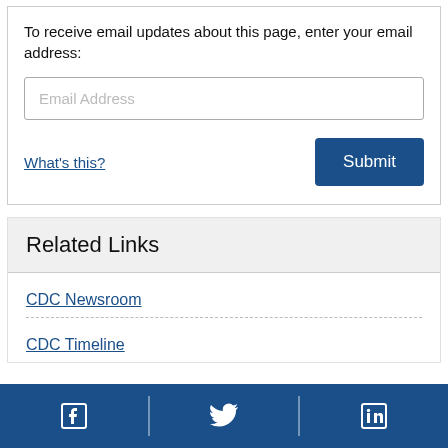To receive email updates about this page, enter your email address:
Email Address
What's this?
Submit
Related Links
CDC Newsroom
CDC Timeline
Facebook | Twitter | LinkedIn